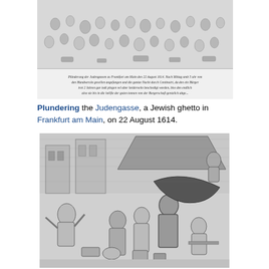[Figure (illustration): Historical engraving depicting the plundering of the Judengasse (Jewish ghetto) in Frankfurt am Main on 22 August 1614. A chaotic crowd scene with figures looting and text inscription at the bottom of the engraving.]
Plundering the Judengasse, a Jewish ghetto in Frankfurt am Main, on 22 August 1614.
[Figure (illustration): Historical illustration showing a scene of plundering inside a building, with multiple figures engaged in looting and chaos, rendered in black and white engraving style.]